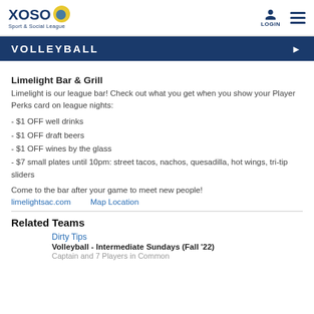[Figure (logo): XOSO Sport & Social League logo with yellow ball icon]
LOGIN | hamburger menu
VOLLEYBALL
Limelight Bar & Grill
Limelight is our league bar! Check out what you get when you show your Player Perks card on league nights:
- $1 OFF well drinks
- $1 OFF draft beers
- $1 OFF wines by the glass
- $7 small plates until 10pm: street tacos, nachos, quesadilla, hot wings, tri-tip sliders
Come to the bar after your game to meet new people!
limelightsac.com    Map Location
Related Teams
Dirty Tips
Volleyball - Intermediate Sundays (Fall '22)
Captain and 7 Players in Common